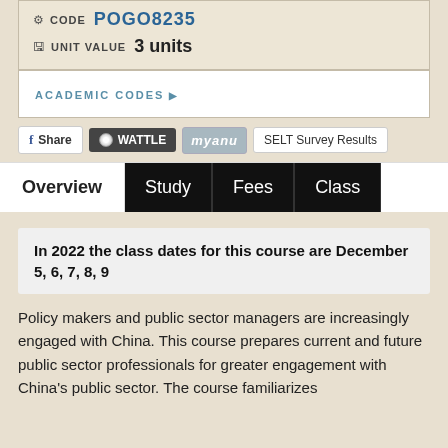CODE POGO8235
UNIT VALUE 3 units
ACADEMIC CODES ▶
[Figure (screenshot): Social sharing buttons row: Facebook Share, Wattle, my.anu logo, SELT Survey Results]
Overview | Study | Fees | Class
In 2022 the class dates for this course are December 5, 6, 7, 8, 9
Policy makers and public sector managers are increasingly engaged with China. This course prepares current and future public sector professionals for greater engagement with China's public sector. The course familiarizes